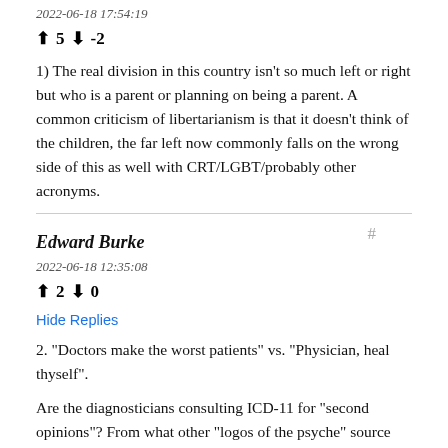2022-06-18 17:54:19
↑ 5 ↓ -2
1) The real division in this country isn't so much left or right but who is a parent or planning on being a parent. A common criticism of libertarianism is that it doesn't think of the children, the far left now commonly falls on the wrong side of this as well with CRT/LGBT/probably other acronyms.
Edward Burke
2022-06-18 12:35:08
↑ 2 ↓ 0
Hide Replies
2. "Doctors make the worst patients" vs. "Physician, heal thyself".
Are the diagnosticians consulting ICD-11 for "second opinions"? From what other "logos of the psyche" source might they derive